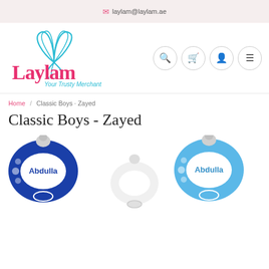laylam@laylam.ae
[Figure (logo): Laylam logo with teal butterfly and pink cursive text reading 'Laylam' and blue tagline 'Your Trusty Merchant']
Home / Classic Boys · Zayed
Classic Boys - Zayed
[Figure (photo): Three baby pacifiers shown at bottom of page - two dark blue and one light blue with 'Abdulla' text on them, and a white pacifier partially visible in center]